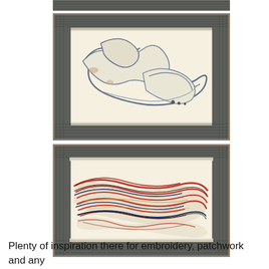[Figure (photo): Partial top edge of a framed textile/embroidery artwork with grey striped border, cropped at top of page]
[Figure (photo): Framed textile artwork with grey striped border containing a cream/ivory fabric piece with swirling blue-grey marbled embroidery pattern resembling a figure or wave]
[Figure (photo): Framed textile artwork with grey striped border containing a cream/ivory fabric piece with vivid red, blue, and black swirling marbled pattern]
Plenty of inspiration there for embroidery, patchwork and any